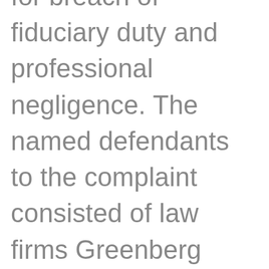for breach of fiduciary duty and professional negligence. The named defendants to the complaint consisted of law firms Greenberg Traurig, LLP, Greenberg Traurig, P.A., Jenkens & Gilchrist, P.C. and Bilzin Sumberg Baena Price & Axelrod LLP as well as attorney Robert I. Schwimmer who previously represented the Company while an attorney at Jenkens & Gilchrist and later at Greenberg Traurig. The Company also named as defendants the law firm of Moscowitz & Moscowitz, P.A. and its attorneys, Norman A. Moscowitz and Jane W. Moscowitz. On August 8, 2012,